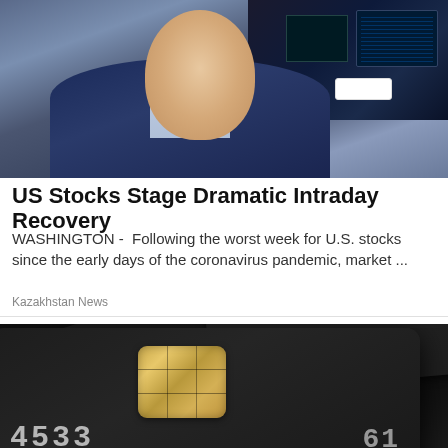[Figure (photo): Photo of a stock market trader in a blue uniform jacket with a badge, on the trading floor with screens in the background]
US Stocks Stage Dramatic Intraday Recovery
WASHINGTON -  Following the worst week for U.S. stocks since the early days of the coronavirus pandemic, market ...
Kazakhstan News
[Figure (photo): Close-up photo of dark/black credit cards with a gold EMV chip and embossed numbers 4533 and 61-, and partial card number 365000 visible on the back card]